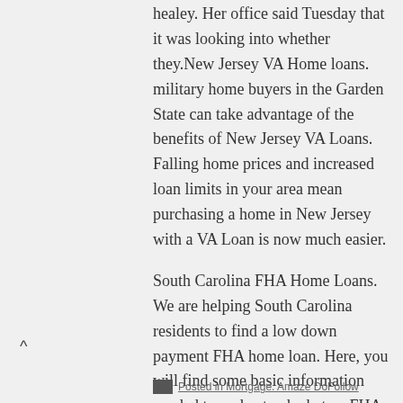healey. Her office said Tuesday that it was looking into whether they.New Jersey VA Home loans. military home buyers in the Garden State can take advantage of the benefits of New Jersey VA Loans. Falling home prices and increased loan limits in your area mean purchasing a home in New Jersey with a VA Loan is now much easier.
South Carolina FHA Home Loans. We are helping South Carolina residents to find a low down payment FHA home loan. Here, you will find some basic information needed to understand what an FHA Loan is, what the qualifications are as well as the FHA loan limits in South Carolina.
^